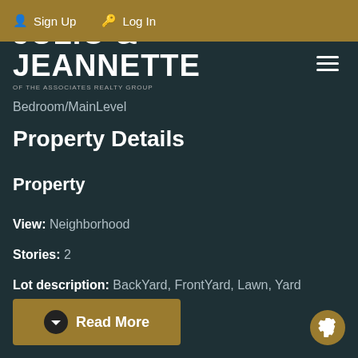Sign Up  Log In
[Figure (logo): Julio & Jeannette of The Associates Realty Group logo with tagline A Tradition of Trust]
Bedroom/MainLevel
Property Details
Property
View: Neighborhood
Stories: 2
Lot description: BackYard, FrontYard, Lawn, Yard
Measurements
Read More